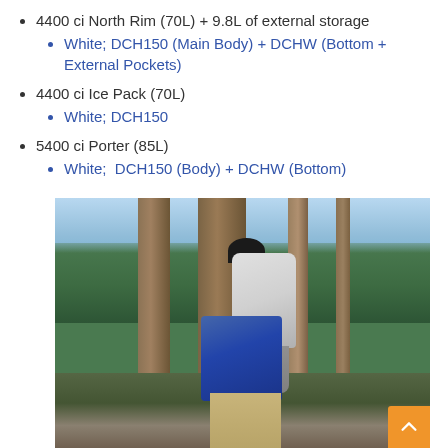4400 ci North Rim (70L) + 9.8L of external storage
White; DCH150 (Main Body) + DCHW (Bottom + External Pockets)
4400 ci Ice Pack (70L)
White; DCH150
5400 ci Porter (85L)
White;  DCH150 (Body) + DCHW (Bottom)
[Figure (photo): Person wearing a large white/gray backpack and blue jacket, standing among trees in a forest, viewed from behind. The person wears a black hat and khaki pants. A gray bottom pack section is visible. Forest and sky in background.]